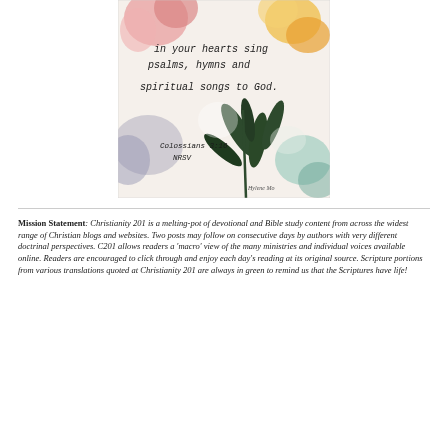[Figure (illustration): Watercolor floral illustration with colorful flowers and dark green leaves. Text overlay in typewriter font reads: 'in your hearts sing psalms, hymns and spiritual songs to God.' with attribution 'Colossians 3:16 NRSV' at the bottom left.]
Mission Statement: Christianity 201 is a melting-pot of devotional and Bible study content from across the widest range of Christian blogs and websites. Two posts may follow on consecutive days by authors with very different doctrinal perspectives. C201 allows readers a 'macro' view of the many ministries and individual voices available online. Readers are encouraged to click through and enjoy each day's reading at its original source. Scripture portions from various translations quoted at Christianity 201 are always in green to remind us that the Scriptures have life!